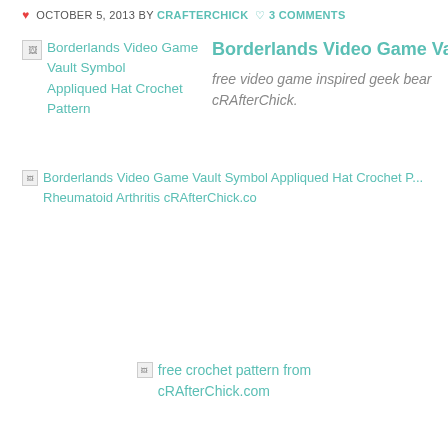OCTOBER 5, 2013 BY CRAFTERCHICK  3 COMMENTS
[Figure (other): Broken image thumbnail for Borderlands Video Game Vault Symbol Appliqued Hat Crochet Pattern]
Borderlands Video Game Vault Symbol
free video game inspired geek bear cRAfterChick.
[Figure (other): Broken image for Borderlands Video Game Vault Symbol Appliqued Hat Crochet Pattern - Rheumatoid Arthritis cRAfterChick.co]
[Figure (other): Broken image for free crochet pattern from cRAfterChick.com]